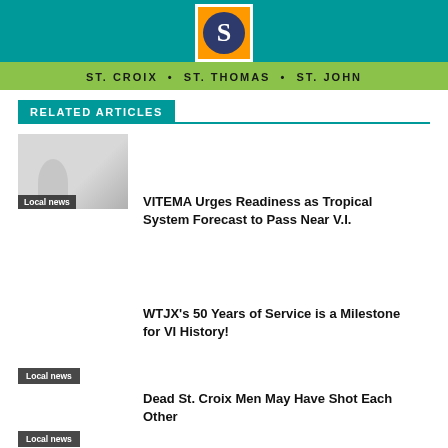[Figure (logo): Source of the VI news website logo with teal and green banner, orange square with S circle, St. Croix, St. Thomas, St. John subtitle]
RELATED ARTICLES
VITEMA Urges Readiness as Tropical System Forecast to Pass Near V.I.
Local news
WTJX's 50 Years of Service is a Milestone for VI History!
Local news
Dead St. Croix Men May Have Shot Each Other
Local news